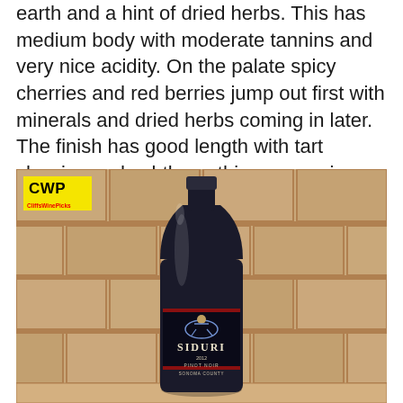earth and a hint of dried herbs.  This has medium body with moderate tannins and very nice acidity.  On the palate spicy cherries and red berries jump out first with minerals and dried herbs coming in later.  The finish has good length with tart cherries and subtle earthiness carrying the load.  Very easy to drink, value priced and very food friendly, who could ask for more?  (90 pts)
[Figure (photo): A bottle of Siduri 2012 Pinot Noir Sonoma County wine photographed against a tile/stone backsplash background, with a CWP (CliffsWinePicks) yellow logo badge in the top left corner.]